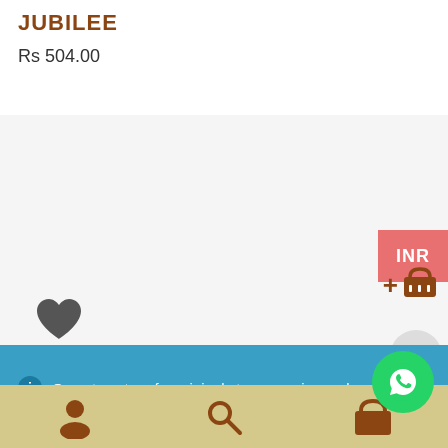JUBILEE
Rs 504.00
[Figure (screenshot): Product listing area with light gray background, INR badge in pink/red top right, add-to-cart basket icon in brown, plus circle button]
[Figure (other): Heart/favorite icon in dark gray]
One stop store for original stamps, coins and much more
Dismiss
[Figure (other): Bottom navigation bar with user icon, search icon, and partially visible cart/basket icon on tan/khaki background. WhatsApp floating button in green bottom right.]